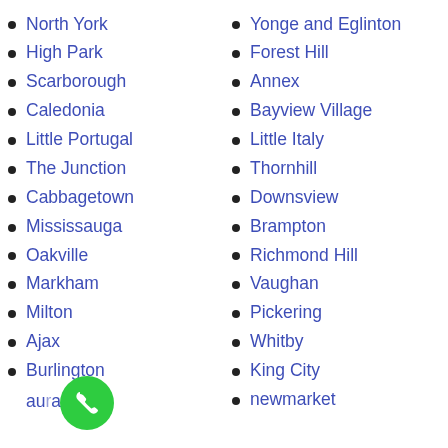North York
High Park
Scarborough
Caledonia
Little Portugal
The Junction
Cabbagetown
Mississauga
Oakville
Markham
Milton
Ajax
Burlington
aurora
Yonge and Eglinton
Forest Hill
Annex
Bayview Village
Little Italy
Thornhill
Downsview
Brampton
Richmond Hill
Vaughan
Pickering
Whitby
King City
newmarket